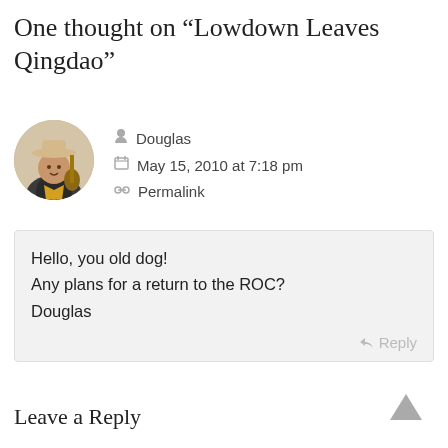One thought on “Lowdown Leaves Qingdao”
Douglas
May 15, 2010 at 7:18 pm
Permalink
Hello, you old dog!
Any plans for a return to the ROC?
Douglas
Reply
Leave a Reply